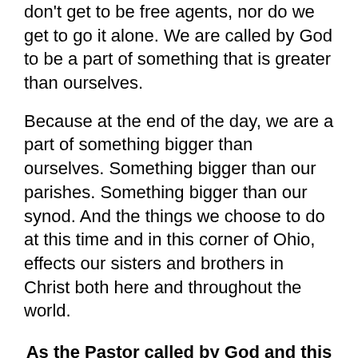don't get to be free agents, nor do we get to go it alone. We are called by God to be a part of something that is greater than ourselves.
Because at the end of the day, we are a part of something bigger than ourselves. Something bigger than our parishes. Something bigger than our synod. And the things we choose to do at this time and in this corner of Ohio, effects our sisters and brothers in Christ both here and throughout the world.
As the Pastor called by God and this synod to serve the Church, I have discerned that during the suspension of in-person worship, I will not offer an all-encompassing blessing for digital or virtual